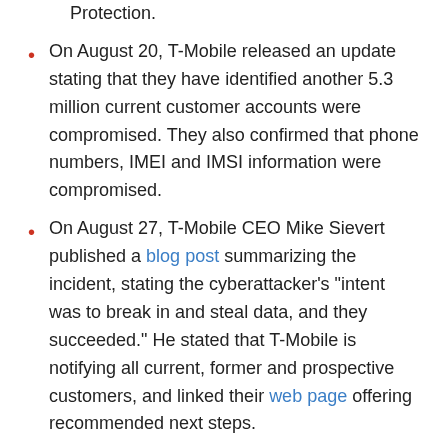Protection.
On August 20, T-Mobile released an update stating that they have identified another 5.3 million current customer accounts were compromised. They also confirmed that phone numbers, IMEI and IMSI information were compromised.
On August 27, T-Mobile CEO Mike Sievert published a blog post summarizing the incident, stating the cyberattacker's "intent was to break in and steal data, and they succeeded." He stated that T-Mobile is notifying all current, former and prospective customers, and linked their web page offering recommended next steps.